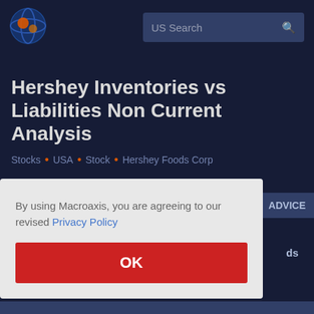[Figure (logo): Macroaxis globe logo with orange and blue colors]
Hershey Inventories vs Liabilities Non Current Analysis
Stocks . USA . Stock . Hershey Foods Corp
By using Macroaxis, you are agreeing to our revised Privacy Policy
OK